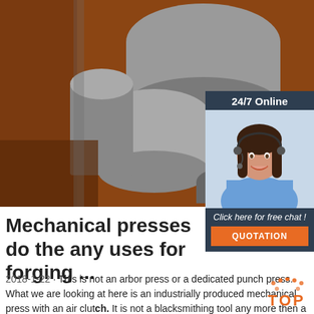[Figure (photo): Close-up photo of industrial mechanical press components showing metal cylindrical/disc-shaped parts against a reddish-brown background]
[Figure (photo): 24/7 Online chat widget showing a smiling woman with a headset, a 'Click here for free chat!' message and a QUOTATION button]
Mechanical presses do the any uses for forging ...
2018-1-22 · This is not an arbor press or a dedicated punch press. What we are looking at here is an industrially produced mechanical press with an air clutch. It is not a blacksmithing tool any more then a mig welde would be. It is a machine for hot and cold forming, punching, and shearing. It is not a hammer and can not